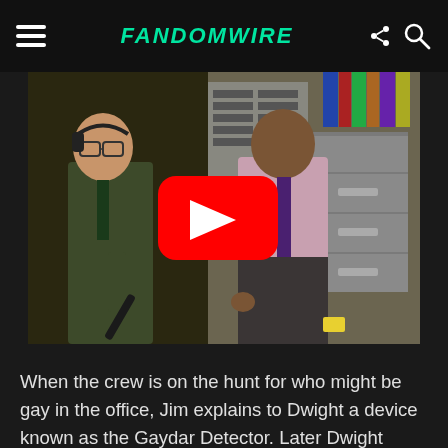FandomWire
[Figure (screenshot): Video thumbnail from The Office showing two characters in an office setting, one holding a device, with a YouTube play button overlay]
When the crew is on the hunt for who might be gay in the office, Jim explains to Dwight a device known as the Gaydar Detector. Later Dwight receives a package in the mail from Jim and attempts to use it on Oscar, he waves a metal detector wand over